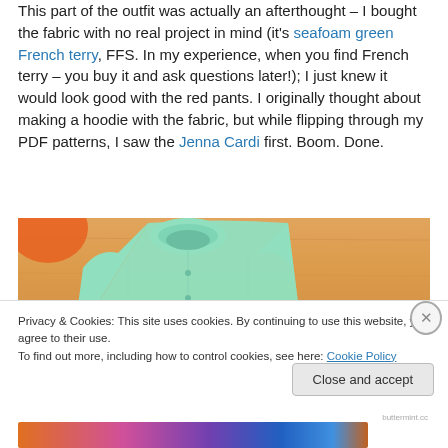This part of the outfit was actually an afterthought – I bought the fabric with no real project in mind (it's seafoam green French terry, FFS. In my experience, when you find French terry – you buy it and ask questions later!); I just knew it would look good with the red pants. I originally thought about making a hoodie with the fabric, but while flipping through my PDF patterns, I saw the Jenna Cardi first. Boom. Done.
[Figure (photo): Photo of a seafoam/mint green French terry cardigan laid flat on a wooden surface, with an orange object partially visible in the upper left corner.]
Privacy & Cookies: This site uses cookies. By continuing to use this website, you agree to their use.
To find out more, including how to control cookies, see here: Cookie Policy
Close and accept